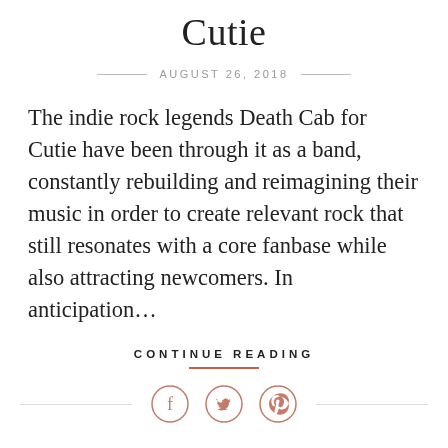Cutie
AUGUST 26, 2018
The indie rock legends Death Cab for Cutie have been through it as a band, constantly rebuilding and reimagining their music in order to create relevant rock that still resonates with a core fanbase while also attracting newcomers. In anticipation...
CONTINUE READING
[Figure (infographic): Three social media sharing icons (Facebook, Twitter, Pinterest) in salmon/coral circle outlines, flanked by horizontal lines on each side]